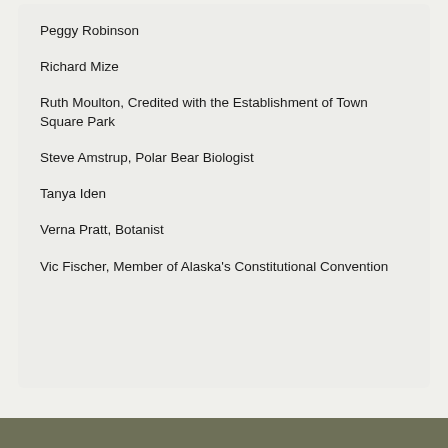Peggy Robinson
Richard Mize
Ruth Moulton, Credited with the Establishment of Town Square Park
Steve Amstrup, Polar Bear Biologist
Tanya Iden
Verna Pratt, Botanist
Vic Fischer, Member of Alaska's Constitutional Convention